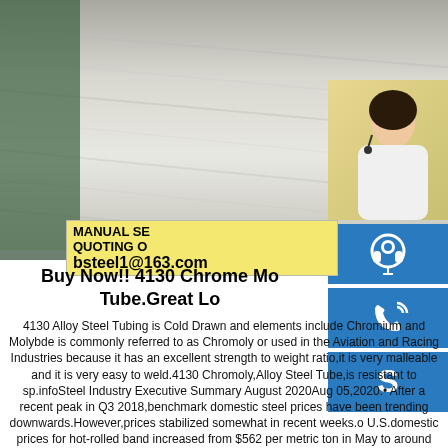[Figure (photo): Close-up photo of steel tubing surface showing metal texture]
[Figure (photo): Customer service representative woman with headset, overlaid with contact icons (headset icon, phone icon, Skype icon) and contact details: MANUAL SE, QUOTING O, bsteel1@163.com]
Buy Now!! 4130 Chrome Mo Tube.Great Lo
4130 Alloy Steel Tubing is Cold Drawn and elements include Chromium and Molybde is commonly referred to as Chromoly or used in the Aviation and Racing Industries because it has an excellent strength to weight ratio,it is very malleable and it is very easy to weld.4130 Chromoly,Alloy Steel Tube,is resistant to sp.infoSteel Industry Executive Summary August 2020Aug 05,2020.• After a recent peak in Q3 2018,benchmark domestic steel prices have been trending downwards.However,prices stabilized somewhat in recent weeks.o U.S.domestic prices for hot-rolled band increased from $562 per metric ton in May to around